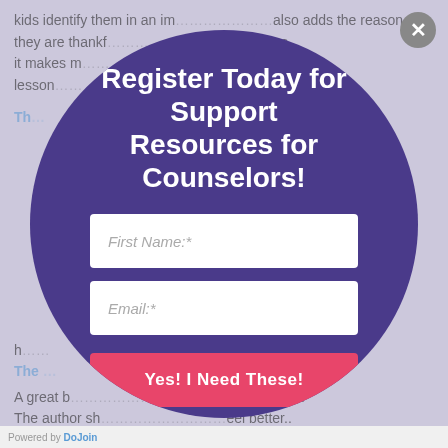kids identify them in an im... also adds the reason they are thankful... hair because it makes m... art for a lesson...
Th...
Register Today for Support Resources for Counselors!
First Name:*
Email:*
Yes! I Need These!
h...
The...
A great b... ank you. The author sh... eel better.. Recinients gobble up... ocolate candies and
Powered by Dojoin